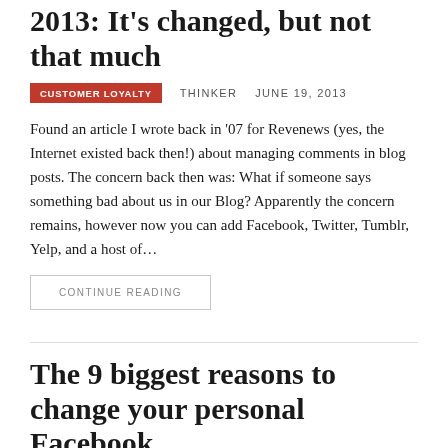2013: It's changed, but not that much
CUSTOMER LOYALTY   THINKER   JUNE 19, 2013
Found an article I wrote back in '07 for Revenews (yes, the Internet existed back then!) about managing comments in blog posts. The concern back then was: What if someone says something bad about us in our Blog? Apparently the concern remains, however now you can add Facebook, Twitter, Tumblr, Yelp, and a host of…
CONTINUE READING
The 9 biggest reasons to change your personal Facebook